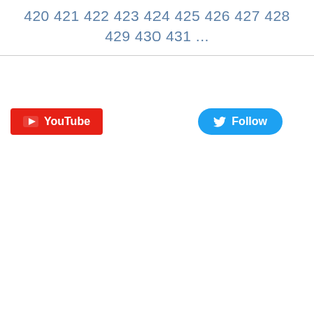420 421 422 423 424 425 426 427 428 429 430 431 ...
[Figure (other): YouTube subscribe button (red rectangle with play icon and 'YouTube' text) and Twitter Follow button (blue pill-shaped button with bird icon and 'Follow' text)]